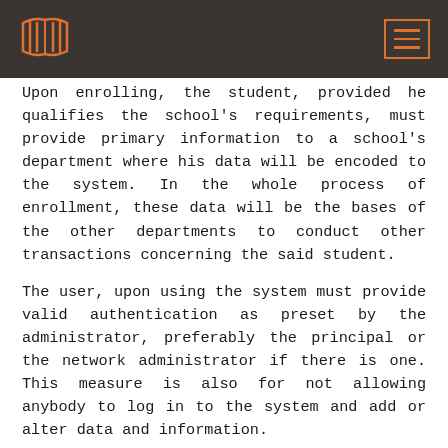[Logo: open book icon] [Navigation menu icon]
Upon enrolling, the student, provided he qualifies the school's requirements, must provide primary information to a school's department where his data will be encoded to the system. In the whole process of enrollment, these data will be the bases of the other departments to conduct other transactions concerning the said student.
The user, upon using the system must provide valid authentication as preset by the administrator, preferably the principal or the network administrator if there is one. This measure is also for not allowing anybody to log in to the system and add or alter data and information.
Generally, the system works by saving data to the database via user interface. By then, data can be